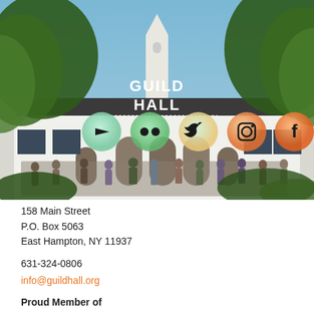[Figure (photo): Exterior photo of Guild Hall building with people gathered outside. White building with arched doorways. Trees frame the top. Overlaid with colorful social media icons (YouTube, Flickr, Twitter, Instagram, Facebook) and the Guild Hall logo in white text at top center.]
158 Main Street
P.O. Box 5063
East Hampton, NY 11937
631-324-0806
info@guildhall.org
Proud Member of